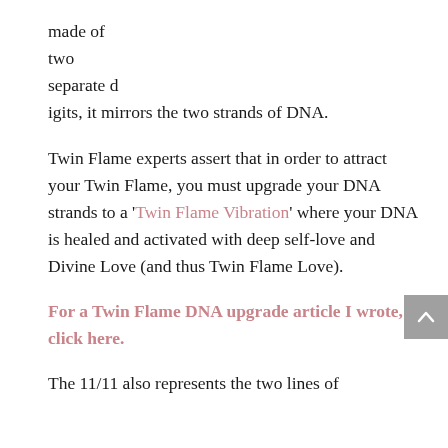made of two separate digits, it mirrors the two strands of DNA.
Twin Flame experts assert that in order to attract your Twin Flame, you must upgrade your DNA strands to a 'Twin Flame Vibration' where your DNA is healed and activated with deep self-love and Divine Love (and thus Twin Flame Love).
For a Twin Flame DNA upgrade article I wrote, click here.
The 11/11 also represents the two lines of